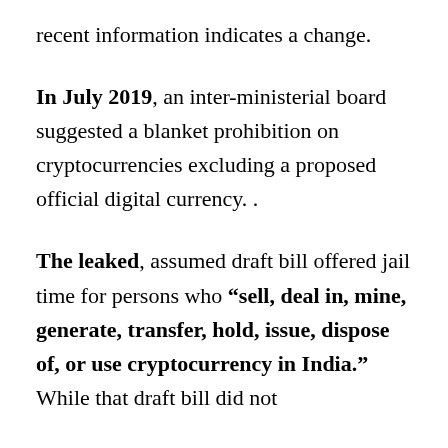recent information indicates a change.
In July 2019, an inter-ministerial board suggested a blanket prohibition on cryptocurrencies excluding a proposed official digital currency. .
The leaked, assumed draft bill offered jail time for persons who "sell, deal in, mine, generate, transfer, hold, issue, dispose of, or use cryptocurrency in India." While that draft bill did not